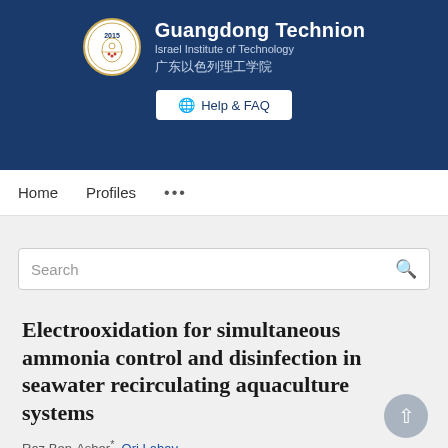[Figure (logo): Guangdong Technion Israel Institute of Technology logo and header banner with institution name in English and Chinese, and Help & FAQ button]
Home   Profiles   ...
Search
Electrooxidation for simultaneous ammonia control and disinfection in seawater recirculating aquaculture systems
Raz Ben-Asher*, Ori Lahav